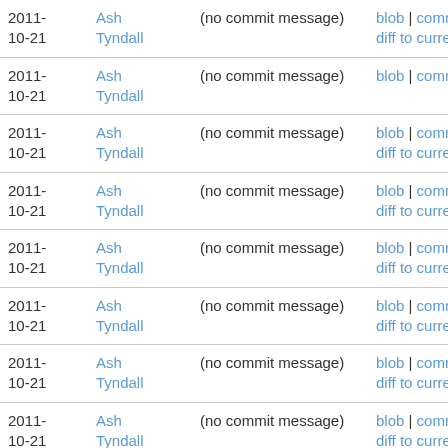| Date | Author | Message | Links |
| --- | --- | --- | --- |
| 2011-10-21 | Ash Tyndall | (no commit message) | blob | commitdiff | diff to current |
| 2011-10-21 | Ash Tyndall | (no commit message) | blob | commitdiff |
| 2011-10-21 | Ash Tyndall | (no commit message) | blob | commitdiff | diff to current |
| 2011-10-21 | Ash Tyndall | (no commit message) | blob | commitdiff | diff to current |
| 2011-10-21 | Ash Tyndall | (no commit message) | blob | commitdiff | diff to current |
| 2011-10-21 | Ash Tyndall | (no commit message) | blob | commitdiff | diff to current |
| 2011-10-21 | Ash Tyndall | (no commit message) | blob | commitdiff | diff to current |
| 2011-10-21 | Ash Tyndall | (no commit message) | blob | commitdiff | diff to current |
| 2011-10-21 | Ash Tyndall | (no commit message) | blob | commitdiff | diff to current |
| 2011- | Ash | Added second light, tidied up | blob | commitdiff | |